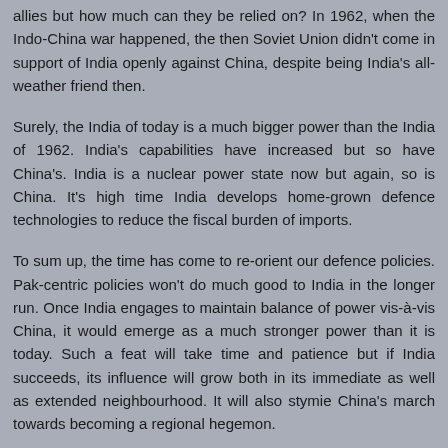allies but how much can they be relied on? In 1962, when the Indo-China war happened, the then Soviet Union didn't come in support of India openly against China, despite being India's all-weather friend then.
Surely, the India of today is a much bigger power than the India of 1962. India's capabilities have increased but so have China's. India is a nuclear power state now but again, so is China. It's high time India develops home-grown defence technologies to reduce the fiscal burden of imports.
To sum up, the time has come to re-orient our defence policies. Pak-centric policies won't do much good to India in the longer run. Once India engages to maintain balance of power vis-à-vis China, it would emerge as a much stronger power than it is today. Such a feat will take time and patience but if India succeeds, its influence will grow both in its immediate as well as extended neighbourhood. It will also stymie China's march towards becoming a regional hegemon.
Reply